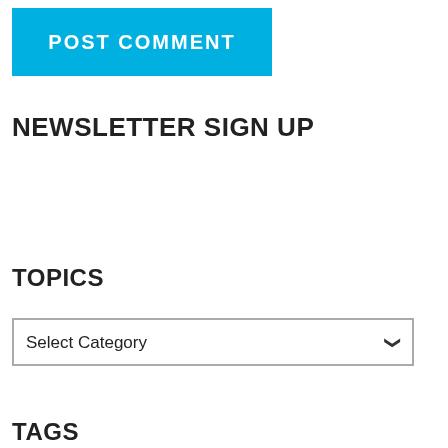[Figure (screenshot): Blue button with white bold uppercase text reading 'POST COMMENT']
NEWSLETTER SIGN UP
TOPICS
Select Category
TAGS